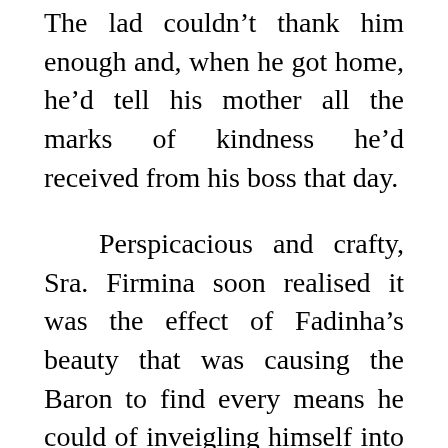The lad couldn't thank him enough and, when he got home, he'd tell his mother all the marks of kindness he'd received from his boss that day.
    Perspicacious and crafty, Sra. Firmina soon realised it was the effect of Fadinha's beauty that was causing the Baron to find every means he could of inveigling himself into the family; so one day she advised her son to invite him home and tell him that she, Sra. Firmina, was very grateful for all the Baron's kindness and would be very happy if she could thank him personally.
    She couldn't have been more pleased with